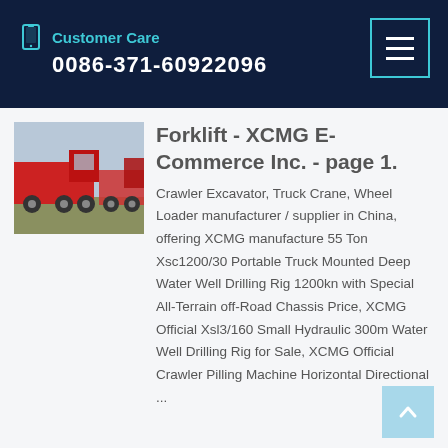Customer Care
0086-371-60922096
[Figure (photo): Red heavy trucks parked in a row, outdoor]
Forklift - XCMG E-Commerce Inc. - page 1.
Crawler Excavator, Truck Crane, Wheel Loader manufacturer / supplier in China, offering XCMG manufacture 55 Ton Xsc1200/30 Portable Truck Mounted Deep Water Well Drilling Rig 1200kn with Special All-Terrain off-Road Chassis Price, XCMG Official Xsl3/160 Small Hydraulic 300m Water Well Drilling Rig for Sale, XCMG Official Crawler Pilling Machine Horizontal Directional ...